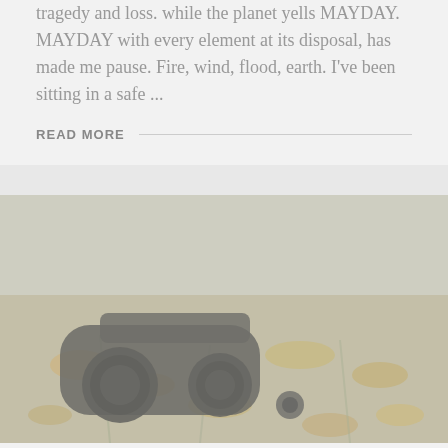tragedy and loss. while the planet yells MAYDAY. MAYDAY with every element at its disposal, has made me pause. Fire, wind, flood, earth. I've been sitting in a safe ...
READ MORE
[Figure (photo): A faded/washed-out photo of a black camera lens or binoculars resting on autumn leaves and grass outdoors.]